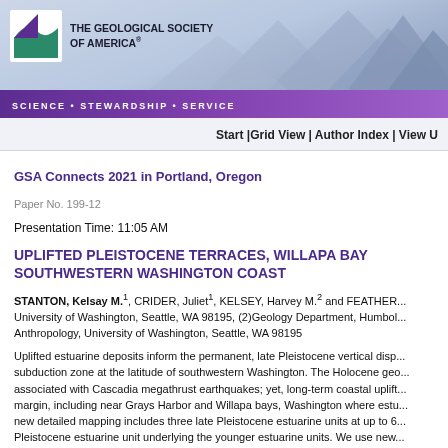[Figure (logo): The Geological Society of America logo with mountain silhouette banner and tagline SCIENCE • STEWARDSHIP • SERVICE]
Start |Grid View | Author Index | View U
GSA Connects 2021 in Portland, Oregon
Paper No. 199-12
Presentation Time: 11:05 AM
UPLIFTED PLEISTOCENE TERRACES, WILLAPA BAY SOUTHWESTERN WASHINGTON COAST
STANTON, Kelsay M.1, CRIDER, Juliet1, KELSEY, Harvey M.2 and FEATHER... University of Washington, Seattle, WA 98195, (2)Geology Department, Humbol... Anthropology, University of Washington, Seattle, WA 98195
Uplifted estuarine deposits inform the permanent, late Pleistocene vertical disp... subduction zone at the latitude of southwestern Washington. The Holocene geo... associated with Cascadia megathrust earthquakes; yet, long-term coastal uplift... margin, including near Grays Harbor and Willapa bays, Washington where estu... new detailed mapping includes three late Pleistocene estuarine units at up to 6... Pleistocene estuarine unit underlying the younger estuarine units. We use new... other recent optically stimulated luminescence dates and previously published... age for these deposits. Within areas the late Pleistocene sediments were like...